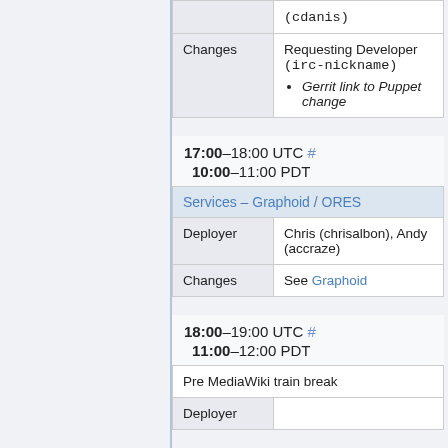|  |  |
| --- | --- |
|  | (cdanis) |
| Changes | Requesting Developer (irc-nickname)
• Gerrit link to Puppet change |
17:00–18:00 UTC #
10:00–11:00 PDT
| Services – Graphoid / ORES |
| --- |
| Deployer | Chris (chrisalbon), Andy (accraze) |
| Changes | See Graphoid |
18:00–19:00 UTC #
11:00–12:00 PDT
| Pre MediaWiki train break |
| --- |
| Deployer |  |